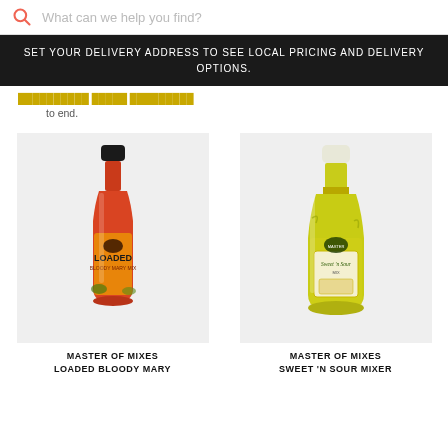What can we help you find?
SET YOUR DELIVERY ADDRESS TO SEE LOCAL PRICING AND DELIVERY OPTIONS.
to end.
[Figure (photo): Bottle of Master of Mixes Loaded Bloody Mary Mix with orange/red label on grey background]
MASTER OF MIXES LOADED BLOODY MARY
[Figure (photo): Bottle of Master of Mixes Sweet 'N Sour Mixer, yellow-green bottle on grey background]
MASTER OF MIXES SWEET 'N SOUR MIXER